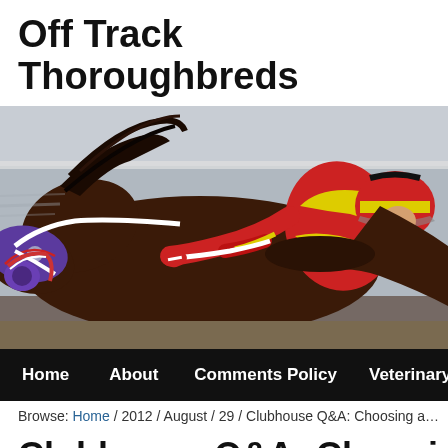Off Track Thoroughbreds
[Figure (photo): A thoroughbred racehorse wearing purple blinders and racing gear, with a jockey in red and yellow silks, photographed in close-up during a race.]
Home   About   Comments Policy   Veterinary
Browse: Home / 2012 / August / 29 / Clubhouse Q&A: Choosing a bi
Clubhouse Q&A: Choosing a bi